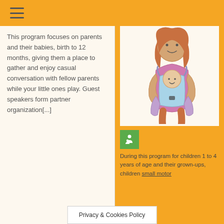≡
This program focuses on parents and their babies, birth to 12 months, giving them a place to gather and enjoy casual conversation with fellow parents while your little ones play. Guest speakers form partner organization[...]
[Figure (illustration): Hand-drawn illustration of a mother carrying a baby in a carrier/wrap on her chest. The mother has brown hair, a pink top, and the baby is dressed in light blue. Both are smiling.]
[Figure (other): Small green square icon with a white figure/person symbol]
During this program for children 1 to 4 years of age and their grown-ups, children small motor
Privacy & Cookies Policy